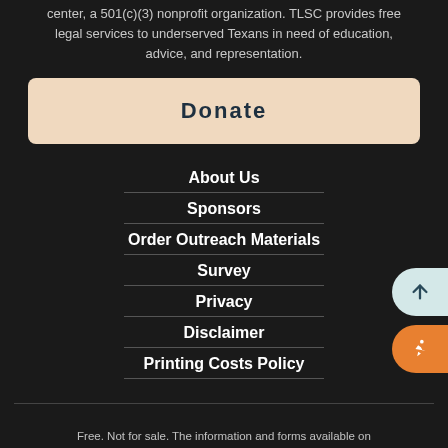center, a 501(c)(3) nonprofit organization. TLSC provides free legal services to underserved Texans in need of education, advice, and representation.
Donate
About Us
Sponsors
Order Outreach Materials
Survey
Privacy
Disclaimer
Printing Costs Policy
Free. Not for sale. The information and forms available on